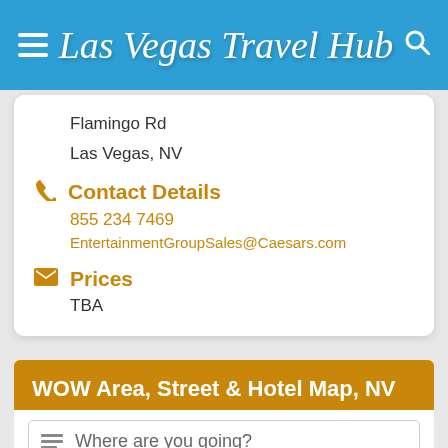Las Vegas Travel Hub
Flamingo Rd
Las Vegas, NV
Contact Details
855 234 7469
EntertainmentGroupSales@Caesars.com
Prices
TBA
WOW Area, Street & Hotel Map, NV
Where are you going?